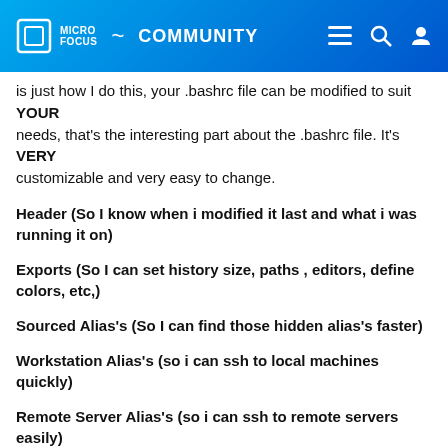Micro Focus Community
is just how I do this, your .bashrc file can be modified to suit YOUR
needs, that's the interesting part about the .bashrc file. It's VERY
customizable and very easy to change.
Header (So I know when i modified it last and what i was running it on)
Exports (So I can set history size, paths , editors, define colors, etc,)
Sourced Alias's (So I can find those hidden alias's faster)
Workstation Alias's (so i can ssh to local machines quickly)
Remote Server Alias's (so i can ssh to remote servers easily)